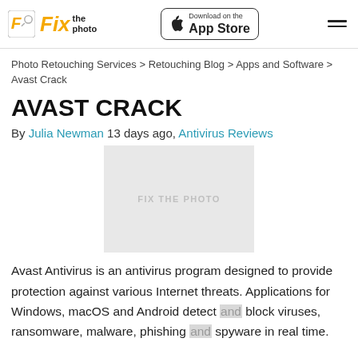Fix the photo | Download on the App Store
Photo Retouching Services > Retouching Blog > Apps and Software > Avast Crack
AVAST CRACK
By Julia Newman 13 days ago, Antivirus Reviews
[Figure (photo): Placeholder image with text FIX THE PHOTO on grey background]
Avast Antivirus is an antivirus program designed to provide protection against various Internet threats. Applications for Windows, macOS and Android detect and block viruses, ransomware, malware, phishing and spyware in real time.